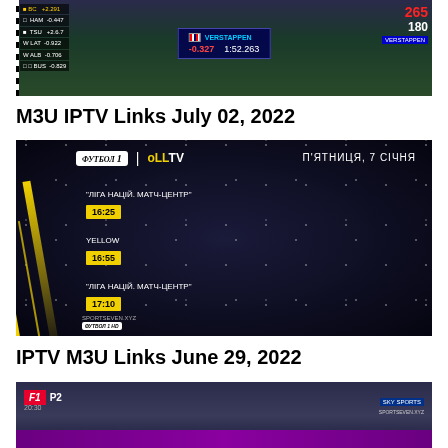[Figure (screenshot): F1 race broadcast screenshot showing driver standings HUD on left, VERSTAPPEN center timing box showing -0.327 and 1:52.263, speed display showing 265 and 180 on right]
M3U IPTV Links July 02, 2022
[Figure (screenshot): Ukrainian TV schedule screenshot showing Футбол 1 / OLLTV channel guide for П'ЯТНИЦЯ, 7 СІЧНЯ (Friday, January 7) with programs: 'ЛІГА НАЦІЙ. МАТЧ-ЦЕНТР' at 16:25, YELLOW at 16:55, 'ЛІГА НАЦІЙ. МАТЧ-ЦЕНТР' at 17:10. Yellow diagonal design element on left, SPORTSEVEN.XYZ watermark at bottom left.]
IPTV M3U Links June 29, 2022
[Figure (screenshot): F1 P2 practice session broadcast screenshot showing F1 logo, P2 label, timestamp 20:30, SKY SPORTS logo and SPORTSEVEN.XYZ watermark top right, purple lower third strip]